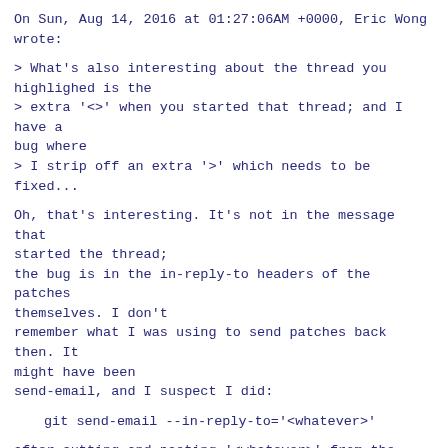On Sun, Aug 14, 2016 at 01:27:06AM +0000, Eric Wong
wrote:
> What's also interesting about the thread you
highlighed is the
> extra '<>' when you started that thread; and I have a
bug where
> I strip off an extra '>' which needs to be fixed...
Oh, that's interesting. It's not in the message that
started the thread;
the bug is in the in-reply-to headers of the patches
themselves. I don't
remember what I was using to send patches back then. It
might have been
send-email, and I suspect I did:
git send-email --in-reply-to='<whatever>'
after cutting-and-pasting '<whatever>' from the cover
letter.
> I wonder if I should make "editorial" changes to
fixup user bugs,
> but then there's also bunch of messages which are
replies to <y>
> because git-send-email had usability problems back in
the day...
I wouldn't go too far in editorial changes. I made a